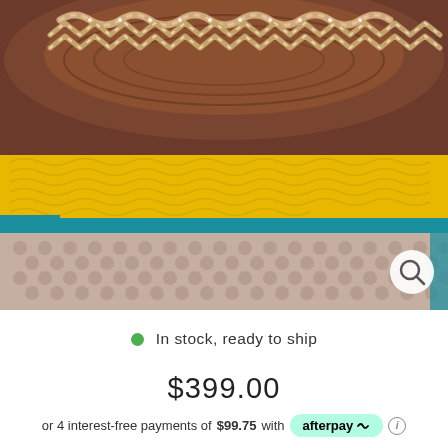[Figure (photo): Close-up product photo of a colorful crochet/knit item with brown, yellow, teal/blue, and beige/taupe knitted fabric. A sparkling silver chain necklace/accessory is visible at the top. A magnify/zoom search icon button is visible in the bottom right corner of the image.]
In stock, ready to ship
$399.00
or 4 interest-free payments of $99.75 with afterpay ⓘ